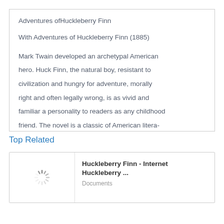Adventures ofHuckleberry Finn
With Adventures of Huckleberry Finn (1885)
Mark Twain developed an archetypal American hero. Huck Finn, the natural boy, resistant to civilization and hungry for adventure, morally right and often legally wrong, is as vivid and familiar a personality to readers as any childhood friend. The novel is a classic of American literature, and, many believe, the greatest work of a great author. Since Huckleberry Finns publica-
Top Related
Huckleberry Finn - Internet Huckleberry ...
Documents